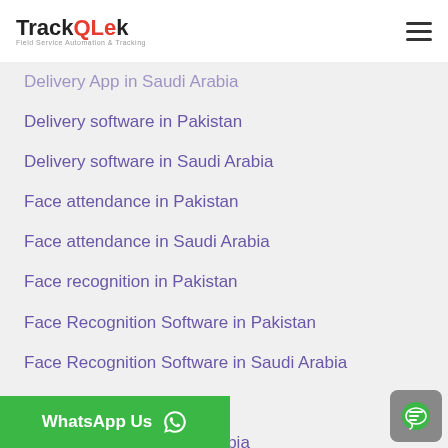TrackQLek — Field Service Automation & Tracking
Delivery App in Saudi Arabia
Delivery software in Pakistan
Delivery software in Saudi Arabia
Face attendance in Pakistan
Face attendance in Saudi Arabia
Face recognition in Pakistan
Face Recognition Software in Pakistan
Face Recognition Software in Saudi Arabia
Face Tracking in Pakistan
Face Tracking in Saudi Arabia
Facial Biometric in Pakistan
Facial Biometric in Saudi Arabia
Field Audit Software in Pakistan
Field Audit Software in Saudi Arabia